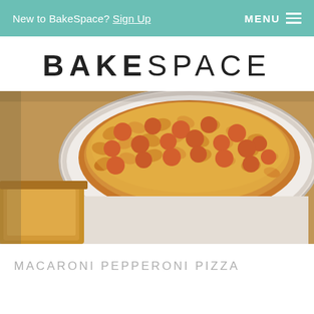New to BakeSpace? Sign Up   MENU ≡
BAKESPACE
[Figure (photo): Close-up photo of a white ceramic casserole dish filled with macaroni pepperoni pizza bake, showing pasta, red pepperoni slices and melted golden cheese, with a piece of bread visible in the lower left corner.]
MACARONI PEPPERONI PIZZA